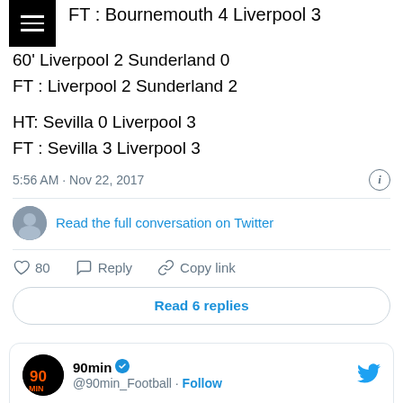FT : Bournemouth 4 Liverpool 3
60' Liverpool 2 Sunderland 0
FT : Liverpool 2 Sunderland 2
HT: Sevilla 0 Liverpool 3
FT : Sevilla 3 Liverpool 3
5:56 AM · Nov 22, 2017
Read the full conversation on Twitter
80  Reply  Copy link
Read 6 replies
90min @90min_Football · Follow
Watching Liverpool's defence try to get